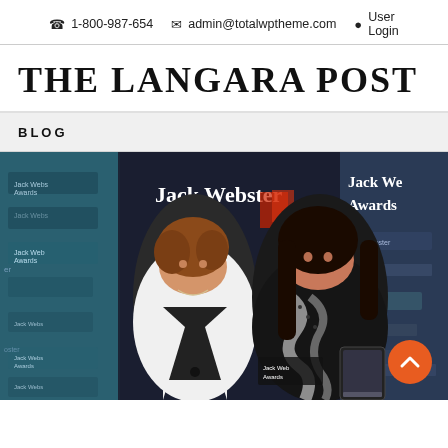1-800-987-654   admin@totalwptheme.com   User Login
THE LANGARA POST
BLOG
[Figure (photo): Two women posing together in front of a Jack Webster Awards backdrop. The woman on the left is older with short curly hair wearing a white jacket. The woman on the right has dark hair and is wearing a black outfit with a patterned scarf and holding a tablet.]